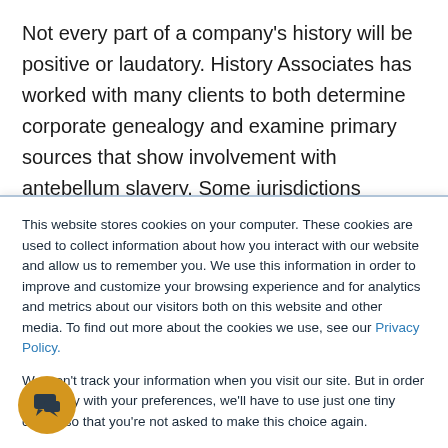Not every part of a company's history will be positive or laudatory. History Associates has worked with many clients to both determine corporate genealogy and examine primary sources that show involvement with antebellum slavery. Some jurisdictions mandate that any company seeking to do business in their community disclose any ties to antebellum slavery. A history of
This website stores cookies on your computer. These cookies are used to collect information about how you interact with our website and allow us to remember you. We use this information in order to improve and customize your browsing experience and for analytics and metrics about our visitors both on this website and other media. To find out more about the cookies we use, see our Privacy Policy.
We won't track your information when you visit our site. But in order to comply with your preferences, we'll have to use just one tiny cookie so that you're not asked to make this choice again.
Accept | Decline